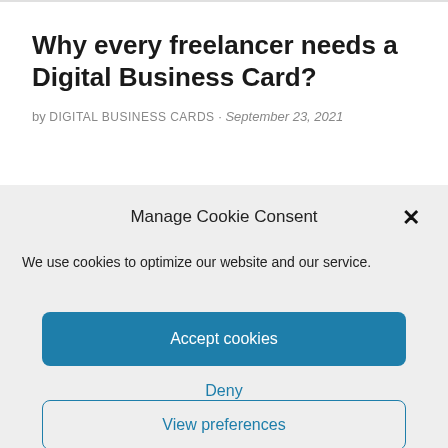Why every freelancer needs a Digital Business Card?
by DIGITAL BUSINESS CARDS · September 23, 2021
Manage Cookie Consent
We use cookies to optimize our website and our service.
Accept cookies
Deny
View preferences